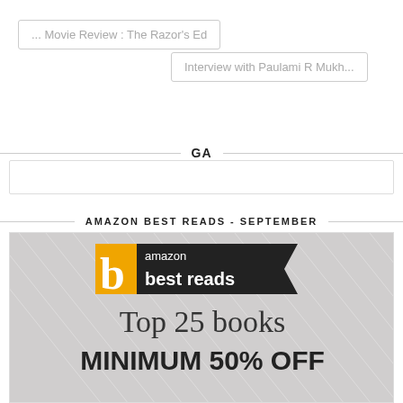... Movie Review : The Razor's Ed
Interview with Paulami R Mukh...
GA
AMAZON BEST READS - SEPTEMBER
[Figure (illustration): Amazon Best Reads advertisement banner showing amazon best reads logo with orange 'b' block and dark banner, text reading 'Top 25 books MINIMUM 50% OFF']